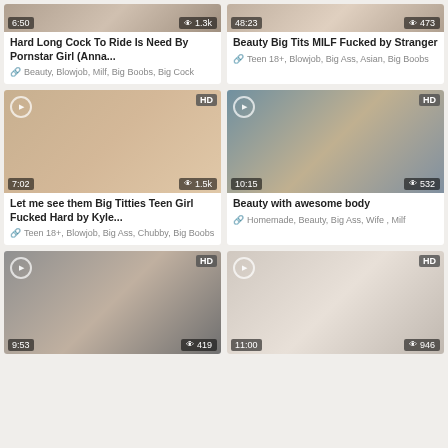[Figure (screenshot): Video thumbnail top-left, duration 6:50, views 1.3k]
Hard Long Cock To Ride Is Need By Pornstar Girl (Anna...
Beauty, Blowjob, Milf, Big Boobs, Big Cock
[Figure (screenshot): Video thumbnail top-right, duration 48:23, views 473]
Beauty Big Tits MILF Fucked by Stranger
Teen 18+, Blowjob, Big Ass, Asian, Big Boobs
[Figure (screenshot): Video thumbnail middle-left HD, duration 7:02, views 1.5k]
Let me see them Big Titties Teen Girl Fucked Hard by Kyle...
Teen 18+, Blowjob, Big Ass, Chubby, Big Boobs
[Figure (screenshot): Video thumbnail middle-right HD, duration 10:15, views 532]
Beauty with awesome body
Homemade, Beauty, Big Ass, Wife, Milf
[Figure (screenshot): Video thumbnail bottom-left HD, duration 9:53, views 419]
[Figure (screenshot): Video thumbnail bottom-right HD, duration 11:00, views 946]